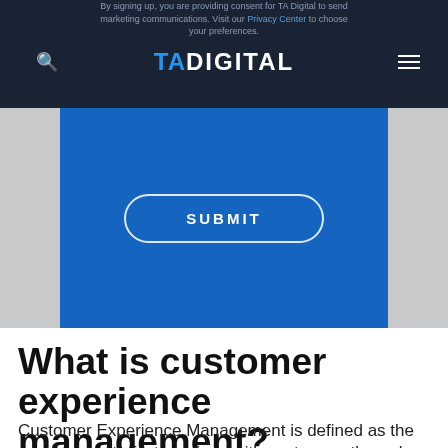By signing up, you are providing consent for TA Digital to send marketing communications. Visit our Privacy Center to choose your preferences.
[Figure (logo): TA Digital logo in white and blue on dark navy background, with search icon on left and hamburger menu on right]
[Figure (screenshot): Blue submit section with a SUBMIT button with rounded border]
What is customer experience management?
Customer Experience Management is defined as the management of interactions with customers through digital and